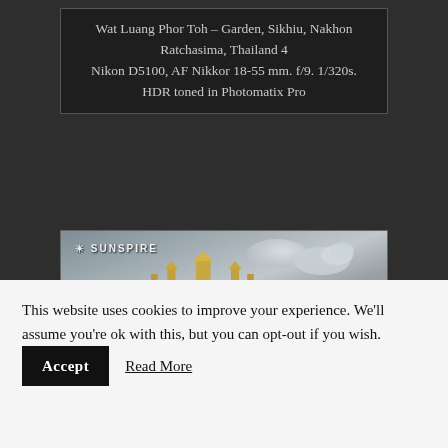Wat Luang Phor Toh – Garden, Sikhiu, Nakhon Ratchasima, Thailand 4
Nikon D5100, AF Nikkor 18-55 mm. f/9. 1/320s. HDR toned in Photomatix Pro
[Figure (photo): HDR photograph of Wat Luang Phor Toh temple complex in Sikhiu, Nakhon Ratchasima, Thailand. Shows ornate golden Thai Buddhist temple spires against a dramatic cloudy sky, with lush green trees to the right and a reflecting water feature in the foreground. Sunspire photography watermark visible in upper left.]
This website uses cookies to improve your experience. We'll assume you're ok with this, but you can opt-out if you wish. Accept   Read More